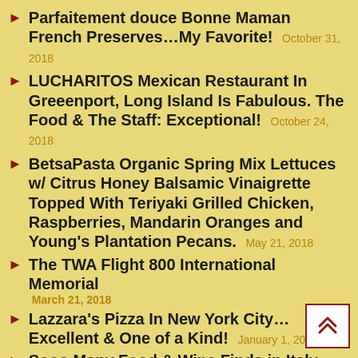Parfaitement douce Bonne Maman French Preserves…My Favorite! October 31, 2018
LUCHARITOS Mexican Restaurant In Greeenport, Long Island Is Fabulous. The Food & The Staff: Exceptional! October 24, 2018
BetsaPasta Organic Spring Mix Lettuces w/ Citrus Honey Balsamic Vinaigrette Topped With Teriyaki Grilled Chicken, Raspberries, Mandarin Oranges and Young's Plantation Pecans. May 21, 2018
The TWA Flight 800 International Memorial March 21, 2018
Lazzara's Pizza In New York City…Excellent & One of a Kind! January 1, 2018
Sooo Many Food & Wine Finds in Italy and England…For Sure Do Not Miss The Restaurant At Agriturismo Dimora del